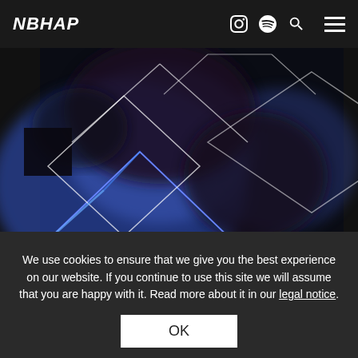NBHAP
[Figure (photo): Abstract blurred blue and dark image with geometric diamond/chevron line overlays in white and blue neon]
We use cookies to ensure that we give you the best experience on our website. If you continue to use this site we will assume that you are happy with it. Read more about it in our legal notice.
OK